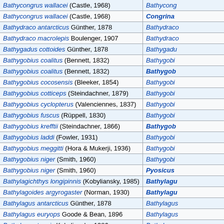| Species | Reference |
| --- | --- |
| Bathycongrus wallacei (Castle, 1968) | Bathycong... |
| Bathycongrus wallacei (Castle, 1968) | Congrina ... |
| Bathydraco antarcticus Günther, 1878 | Bathydraco... |
| Bathydraco macrolepis Boulenger, 1907 | Bathydraco... |
| Bathygadus cottoides Günther, 1878 | Bathygadu... |
| Bathygobius coalitus (Bennett, 1832) | Bathygobi... |
| Bathygobius coalitus (Bennett, 1832) | Bathygob... |
| Bathygobius cocosensis (Bleeker, 1854) | Bathygobi... |
| Bathygobius cotticeps (Steindachner, 1879) | Bathygobi... |
| Bathygobius cyclopterus (Valenciennes, 1837) | Bathygobi... |
| Bathygobius fuscus (Rüppell, 1830) | Bathygobi... |
| Bathygobius krefftii (Steindachner, 1866) | Bathygob... |
| Bathygobius laddi (Fowler, 1931) | Bathygobi... |
| Bathygobius meggitti (Hora & Mukerji, 1936) | Bathygobi... |
| Bathygobius niger (Smith, 1960) | Bathygobi... |
| Bathygobius niger (Smith, 1960) | Pyosicus ... |
| Bathylagichthys longipinnis (Kobyliansky, 1985) | Bathylagu... |
| Bathylagoides argyrogaster (Norman, 1930) | Bathylagu... |
| Bathylagus antarcticus Günther, 1878 | Bathylagus... |
| Bathylagus euryops Goode & Bean, 1896 | Bathylagus... |
| Bathylagus tenuis Kobyliansky, 1986 | Bathylagus... |
| Bathymyrus simus Smith, 1965 | Bathymyr... |